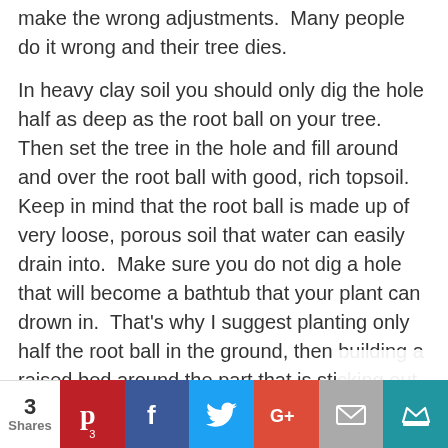make the wrong adjustments.  Many people do it wrong and their tree dies.
In heavy clay soil you should only dig the hole half as deep as the root ball on your tree.  Then set the tree in the hole and fill around and over the root ball with good, rich topsoil.  Keep in mind that the root ball is made up of very loose, porous soil that water can easily drain into.  Make sure you do not dig a hole that will become a bathtub that your plant can drown in.  That's why I suggest planting only half the root ball in the ground, then building a raised bed around the part that is sticking out of the ground.  When planted high like this your tree will need watered about twice a week, but
3 Shares | Pinterest 3 | Facebook | Twitter | Google+ | Email | Crown